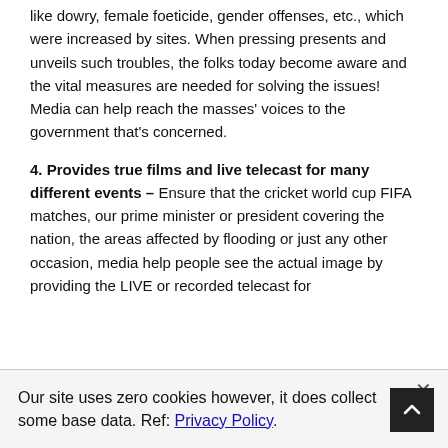like dowry, female foeticide, gender offenses, etc., which were increased by sites. When pressing presents and unveils such troubles, the folks today become aware and the vital measures are needed for solving the issues! Media can help reach the masses' voices to the government that's concerned.
4. Provides true films and live telecast for many different events – Ensure that the cricket world cup FIFA matches, our prime minister or president covering the nation, the areas affected by flooding or just any other occasion, media help people see the actual image by providing the LIVE or recorded telecast for
Our site uses zero cookies however, it does collect some base data. Ref: Privacy Policy.